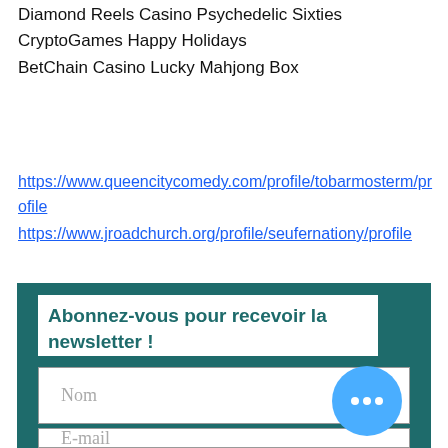Diamond Reels Casino Psychedelic Sixties
CryptoGames Happy Holidays
BetChain Casino Lucky Mahjong Box
https://www.queencitycomedy.com/profile/tobarmosterm/profile
https://www.jroadchurch.org/profile/seufernationy/profile
https://www.peterbenjaminmusic.org/profile/wesermorawac/profile
https://www.shestaysfaithful.com/profile/labarofillou/profile
Abonnez-vous pour recevoir la newsletter !
Nom
E-mail